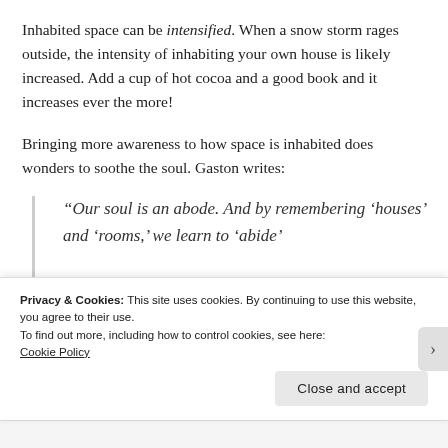Inhabited space can be intensified. When a snow storm rages outside, the intensity of inhabiting your own house is likely increased. Add a cup of hot cocoa and a good book and it increases ever the more!
Bringing more awareness to how space is inhabited does wonders to soothe the soul. Gaston writes:
“Our soul is an abode. And by remembering ‘houses’ and ‘rooms,’ we learn to ‘abide’ within ourselves.”
Privacy & Cookies: This site uses cookies. By continuing to use this website, you agree to their use.
To find out more, including how to control cookies, see here:
Cookie Policy
Close and accept